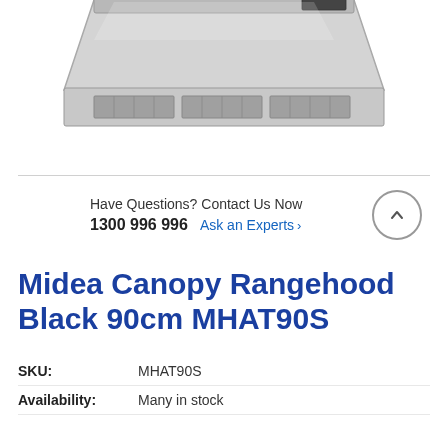[Figure (photo): Product photo of Midea Canopy Rangehood in stainless steel/black, showing the top portion of the appliance against a white background]
Have Questions? Contact Us Now
1300 996 996   Ask an Experts >
Midea Canopy Rangehood Black 90cm MHAT90S
SKU:   MHAT90S
Availability:   Many in stock